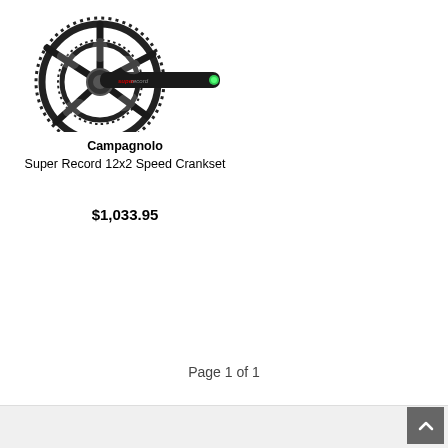[Figure (photo): Photo of Campagnolo Super Record 12x2 Speed Crankset — a black carbon bicycle crankset with two chainrings and a crank arm labeled 'super record' in red text, with a green indicator light at the end of the arm.]
Campagnolo
Super Record 12x2 Speed Crankset
$1,033.95
Page 1 of 1